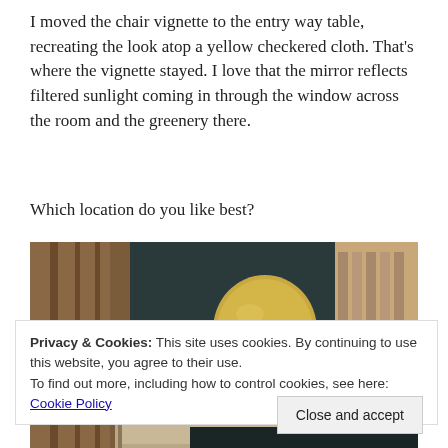I moved the chair vignette to the entry way table, recreating the look atop a yellow checkered cloth. That's where the vignette stayed. I love that the mirror reflects filtered sunlight coming in through the window across the room and the greenery there.
Which location do you like best?
[Figure (photo): Interior photo showing a vignette on a table with a golden round mirror/object, dark teal wall behind it, wooden frames visible on the right, and some framed artwork on the table surface.]
Privacy & Cookies: This site uses cookies. By continuing to use this website, you agree to their use.
To find out more, including how to control cookies, see here: Cookie Policy